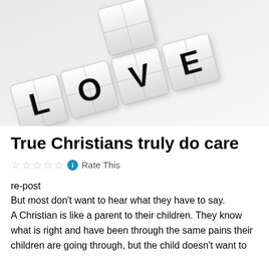[Figure (photo): Scrabble-like letter tiles spelling LOVE arranged on a white surface, shot from a perspective angle. A vertical tile is partially visible at the top crossing the horizontal arrangement.]
True Christians truly do care
Rate This
re-post
But most don't want to hear what they have to say.
A Christian is like a parent to their children. They know what is right and have been through the same pains their children are going through, but the child doesn't want to